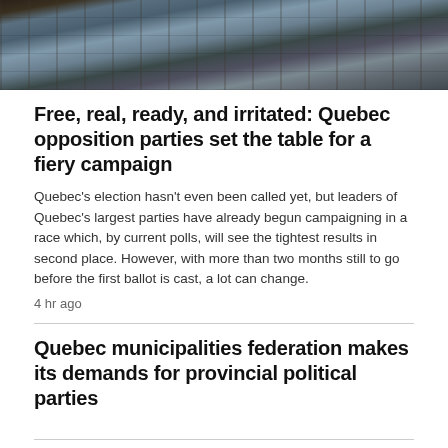[Figure (photo): Overhead/aerial view of a parliament or legislative assembly chamber with rows of wooden desks and seated members]
Free, real, ready, and irritated: Quebec opposition parties set the table for a fiery campaign
Quebec's election hasn't even been called yet, but leaders of Quebec's largest parties have already begun campaigning in a race which, by current polls, will see the tightest results in second place. However, with more than two months still to go before the first ballot is cast, a lot can change.
4 hr ago
Quebec municipalities federation makes its demands for provincial political parties
A second young Inuk woman has died this week after being struck on a Montreal highway
8 hr ago